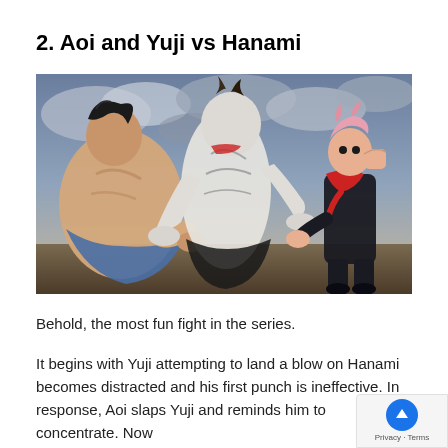2. Aoi and Yuji vs Hanami
[Figure (illustration): Anime screenshot from Jujutsu Kaisen showing a battle scene with three characters: a large muscular fighter on the left, the white cursed spirit Hanami in the center, and Yuji Itadori in a black outfit with red scarf on the right, all set against a dramatic cloudy sky background.]
Behold, the most fun fight in the series.
It begins with Yuji attempting to land a blow on Hanami becomes distracted and his first punch is ineffective. In response, Aoi slaps Yuji and reminds him to concentrate. Now